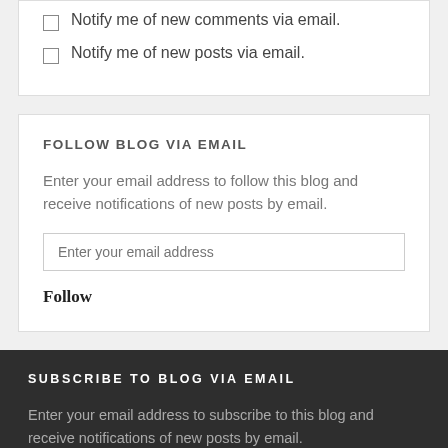Notify me of new comments via email.
Notify me of new posts via email.
FOLLOW BLOG VIA EMAIL
Enter your email address to follow this blog and receive notifications of new posts by email.
Enter your email address
Follow
SUBSCRIBE TO BLOG VIA EMAIL
Enter your email address to subscribe to this blog and receive notifications of new posts by email.